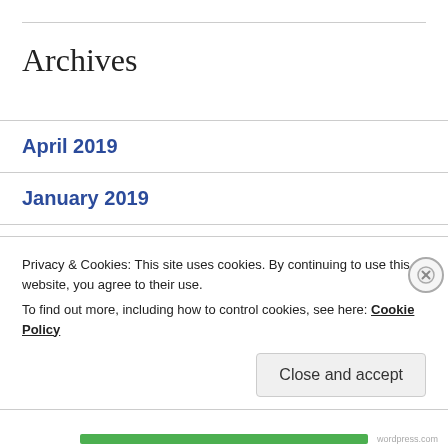Archives
April 2019
January 2019
December 2018
November 2018
October 2018
Privacy & Cookies: This site uses cookies. By continuing to use this website, you agree to their use.
To find out more, including how to control cookies, see here: Cookie Policy
Close and accept